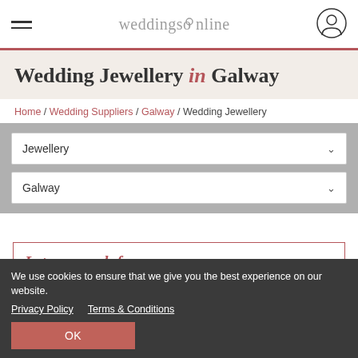weddingsonline
Wedding Jewellery in Galway
Home / Wedding Suppliers / Galway / Wedding Jewellery
Jewellery
Galway
Let us search for you.
Tell us your requirements and we'll search all our suppliers to find the right fit for your special day.
Find a service for me
We use cookies to ensure that we give you the best experience on our website.
Privacy Policy   Terms & Conditions
OK